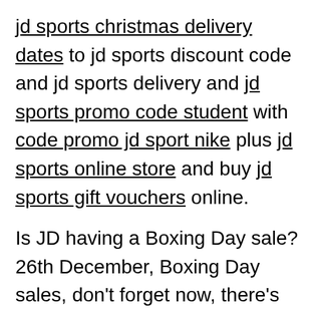jd sports christmas delivery dates to jd sports discount code and jd sports delivery and jd sports promo code student with code promo jd sport nike plus jd sports online store and buy jd sports gift vouchers online.
Is JD having a Boxing Day sale? 26th December, Boxing Day sales, don't forget now, there's always a sale at JD...